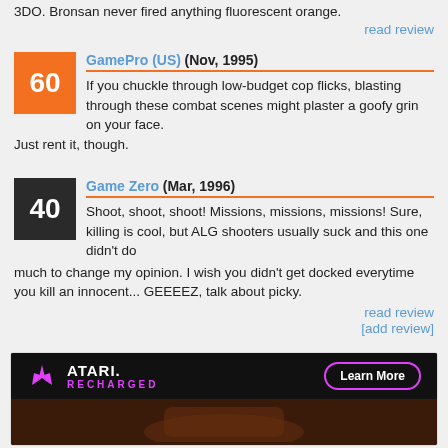3DO. Bronsan never fired anything fluorescent orange.
read review
GamePro (US) (Nov, 1995) — Score: 60
If you chuckle through low-budget cop flicks, blasting through these combat scenes might plaster a goofy grin on your face. Just rent it, though.
Game Zero (Mar, 1996) — Score: 40
Shoot, shoot, shoot! Missions, missions, missions! Sure, killing is cool, but ALG shooters usually suck and this one didn't do much to change my opinion. I wish you didn't get docked everytime you kill an innocent... GEEEEZ, talk about picky.
read review
[add review]
[Figure (photo): Atari Recharged advertisement banner with logo and Learn More button, with illustrated character below]